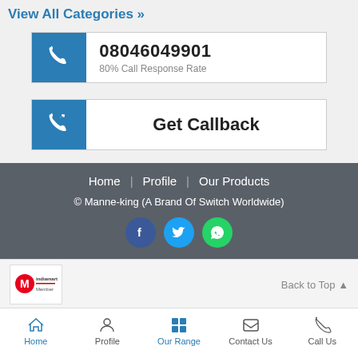View All Categories »
08046049901
80% Call Response Rate
Get Callback
Home | Profile | Our Products
© Manne-king (A Brand Of Switch Worldwide)
[Figure (screenshot): IndiaMART Member logo]
Back to Top ▲
Home | Profile | Our Range | Contact Us | Call Us